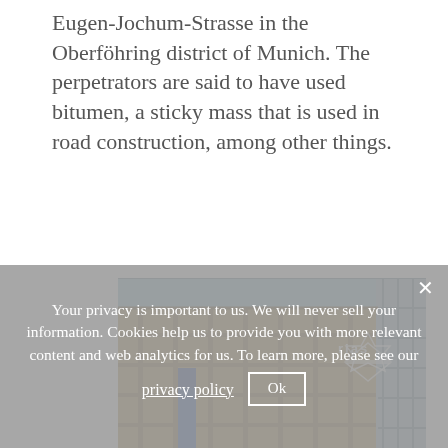Eugen-Jochum-Strasse in the Oberföhring district of Munich. The perpetrators are said to have used bitumen, a sticky mass that is used in road construction, among other things.
[Figure (photo): Construction site photograph showing a multi-story building under construction with scaffolding, wooden formwork, and a crane. A logo reading 'rias' with a hexagonal star shape is overlaid in the upper right corner.]
Your privacy is important to us. We will never sell your information. Cookies help us to provide you with more relevant content and web analytics for us. To learn more, please see our privacy policy  Ok